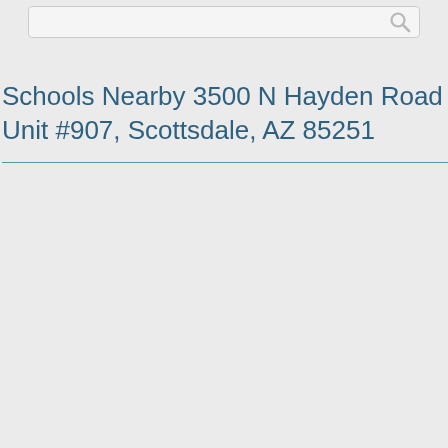[Figure (screenshot): Search bar at top of page with a magnifying glass icon on the right side]
Schools Nearby 3500 N Hayden Road Unit #907, Scottsdale, AZ 85251